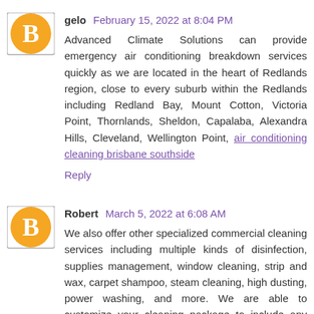gelo February 15, 2022 at 8:04 PM
Advanced Climate Solutions can provide emergency air conditioning breakdown services quickly as we are located in the heart of Redlands region, close to every suburb within the Redlands including Redland Bay, Mount Cotton, Victoria Point, Thornlands, Sheldon, Capalaba, Alexandra Hills, Cleveland, Wellington Point, air conditioning cleaning brisbane southside
Reply
Robert March 5, 2022 at 6:08 AM
We also offer other specialized commercial cleaning services including multiple kinds of disinfection, supplies management, window cleaning, strip and wax, carpet shampoo, steam cleaning, high dusting, power washing, and more. We are able to customize your cleaning package to include any combination of commercial cleaning, disinfection services, specialty cleaning services, and